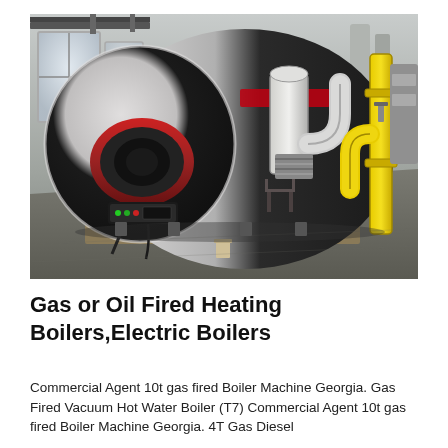[Figure (photo): Industrial gas or oil fired boiler in a factory/warehouse setting. The boiler is a large cylindrical vessel (black and white), with a red burner unit at the front, a control panel with indicator lights, and stainless steel exhaust pipes/flue leading to the right. Yellow gas supply pipes are visible on the far right. The facility has a concrete floor and industrial windows in the background.]
Gas or Oil Fired Heating Boilers,Electric Boilers
Commercial Agent 10t gas fired Boiler Machine Georgia. Gas Fired Vacuum Hot Water Boiler (T7) Commercial Agent 10t gas fired Boiler Machine Georgia. 4T Gas Diesel